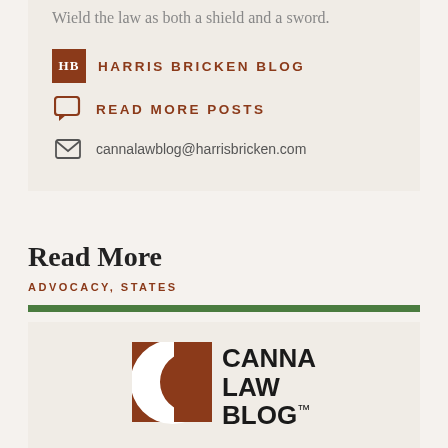Wield the law as both a shield and a sword.
HARRIS BRICKEN BLOG
READ MORE POSTS
cannalawblog@harrisbricken.com
Read More
ADVOCACY, STATES
[Figure (logo): Canna Law Blog logo with stylized brown C shape and bold text reading CANNA LAW BLOG with TM mark]